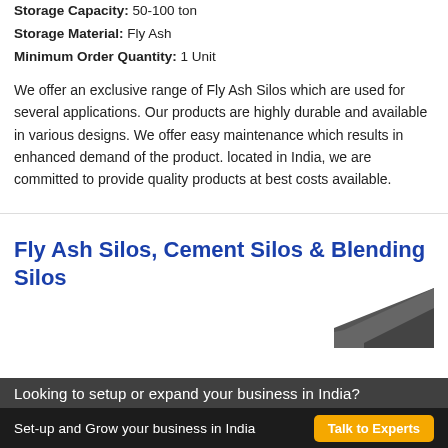Storage Capacity: 50-100 ton
Storage Material: Fly Ash
Minimum Order Quantity: 1 Unit
We offer an exclusive range of Fly Ash Silos which are used for several applications. Our products are highly durable and available in various designs. We offer easy maintenance which results in enhanced demand of the product. located in India, we are committed to provide quality products at best costs available.
Fly Ash Silos, Cement Silos & Blending Silos
[Figure (photo): Partial image of a silo or industrial storage equipment, dark coloured, shown at bottom right]
Looking to setup or expand your business in India?
Set-up and Grow your business in India
Talk to Experts